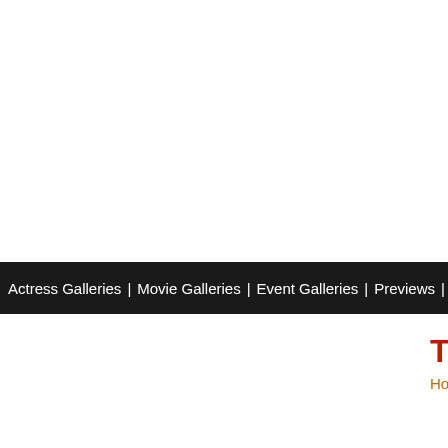Actress Galleries | Movie Galleries | Event Galleries | Previews | Music Reviews | Top T
TOP 10 SONG
Home > Top 10 > Top 10